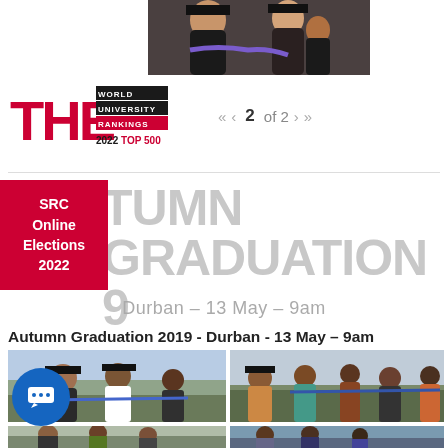[Figure (photo): Graduation ceremony photo showing students in academic gowns and caps]
[Figure (logo): THE World University Rankings 2022 Top 500 logo]
« ‹  2  of 2  ›  »
AUTUMN GRADUATION 2019
Durban – 13 May – 9am
Autumn Graduation 2019 - Durban - 13 May – 9am
[Figure (photo): Graduation ceremony group photo - left panel showing graduates in gowns]
[Figure (photo): Graduation ceremony group photo - right panel showing family and graduates]
[Figure (photo): Bottom left graduation photo]
[Figure (photo): Bottom right graduation photo]
SRC Online Elections 2022